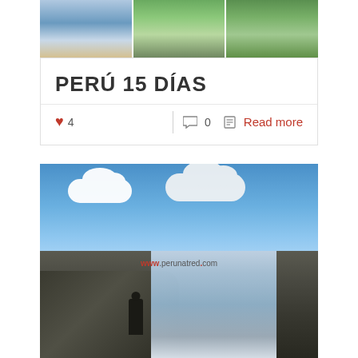[Figure (photo): Three-panel photo strip showing travel scenes in Peru: people jumping on a beach, Incan ruins with a rainbow, and green hillside landscape]
PERÚ 15 DÍAS
♥ 4   |   💬 0   📄 Read more
[Figure (photo): Photograph of a large waterfall in a rocky mountain landscape with blue sky and clouds. A person silhouette stands in foreground. Watermark reads www.perunatred.com]